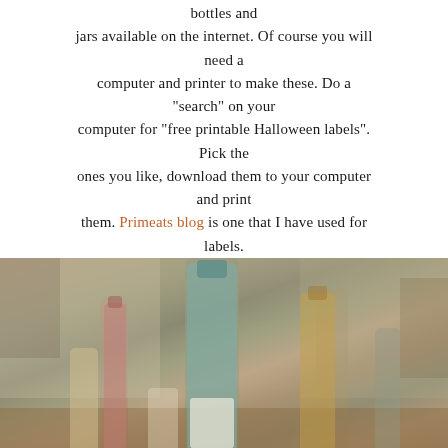bottles and jars available on the internet. Of course you will need a computer and printer to make these. Do a "search" on your computer for "free printable Halloween labels". Pick the ones you like, download them to your computer and print them. Primeats blog is one that I have used for labels.
[Figure (photo): A collection of glass bottles and jars of various shapes and sizes arranged on a surface, with a warm indoor background. Some bottles contain colored liquids.]